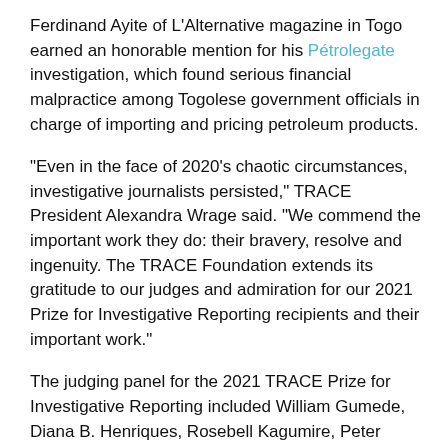Ferdinand Ayite of L'Alternative magazine in Togo earned an honorable mention for his Pétrolegate investigation, which found serious financial malpractice among Togolese government officials in charge of importing and pricing petroleum products.
“Even in the face of 2020’s chaotic circumstances, investigative journalists persisted,” TRACE President Alexandra Wrage said. “We commend the important work they do: their bravery, resolve and ingenuity. The TRACE Foundation extends its gratitude to our judges and admiration for our 2021 Prize for Investigative Reporting recipients and their important work.”
The judging panel for the 2021 TRACE Prize for Investigative Reporting included William Gumede, Diana B. Henriques, Rosebell Kagumire, Peter Klein, Donatella Lorch and Jorge Luis Sierra. Learn more about the recipients and their investigations here.